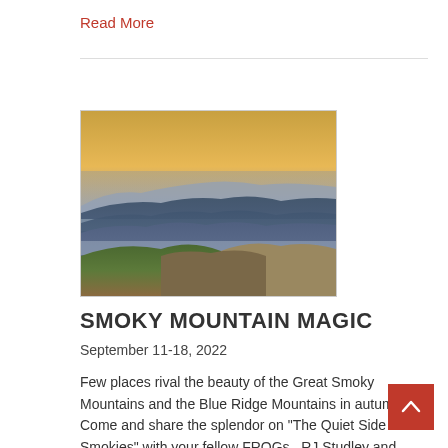Read More
[Figure (photo): Panoramic view of the Great Smoky Mountains or Blue Ridge Mountains at sunset, showing layered blue mountain ridges fading into the distance with golden-orange sky and green foreground hillside.]
SMOKY MOUNTAIN MAGIC
September 11-18, 2022
Few places rival the beauty of the Great Smoky Mountains and the Blue Ridge Mountains in autumn. Come and share the splendor on "The Quiet Side of the Smokies" with your fellow FROGs.  RJ Studley and Hank & Gale Yun will be your hosts for a week of camping at an award-winning RV resort, the spectacular